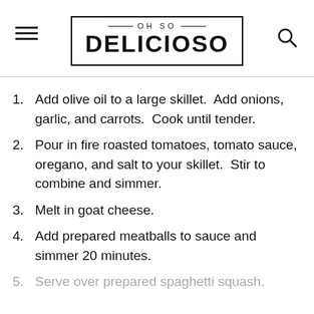OH SO DELICIOSO
Add olive oil to a large skillet.  Add onions, garlic, and carrots.  Cook until tender.
Pour in fire roasted tomatoes, tomato sauce, oregano, and salt to your skillet.  Stir to combine and simmer.
Melt in goat cheese.
Add prepared meatballs to sauce and simmer 20 minutes.
Serve over prepared spaghetti squash.